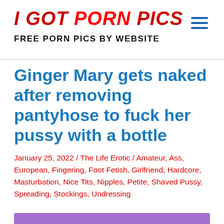I GOT PORN PICS FREE PORN PICS BY WEBSITE
Ginger Mary gets naked after removing pantyhose to fuck her pussy with a bottle
January 25, 2022 / The Life Erotic / Amateur, Ass, European, Fingering, Foot Fetish, Girlfriend, Hardcore, Masturbation, Nice Tits, Nipples, Petite, Shaved Pussy, Spreading, Stockings, Undressing